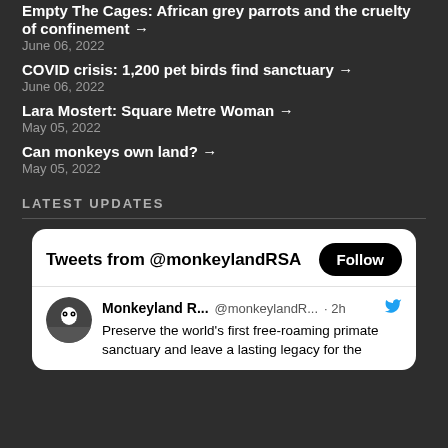Empty The Cages: African grey parrots and the cruelty of confinement → June 06, 2022
COVID crisis: 1,200 pet birds find sanctuary → June 06, 2022
Lara Mostert: Square Metre Woman → May 05, 2022
Can monkeys own land? → May 05, 2022
LATEST UPDATES
[Figure (screenshot): Embedded Twitter/X widget showing tweets from @monkeylandRSA with a Follow button. A tweet from Monkeyland R... @monkeylandR... · 2h reads: Preserve the world's first free-roaming primate sanctuary and leave a lasting legacy for the...]